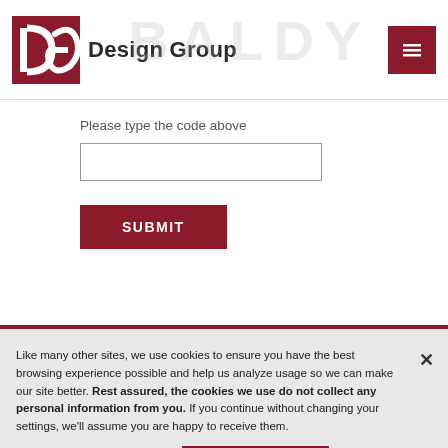[Figure (logo): DG Design Group logo with red square logo mark and bold text 'Design Group']
Please type the code above
SUBMIT
Like many other sites, we use cookies to ensure you have the best browsing experience possible and help us analyze usage so we can make our site better. Rest assured, the cookies we use do not collect any personal information from you. If you continue without changing your settings, we'll assume you are happy to receive them.
Cookies Settings
Accept All Cookies